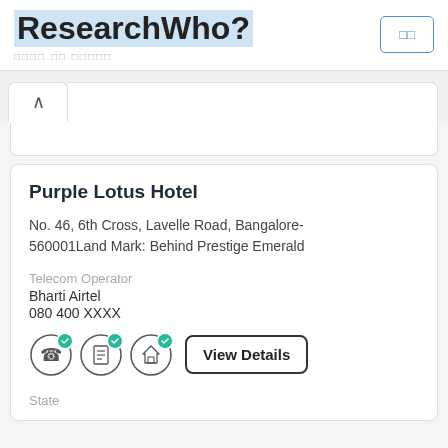ResearchWho?
□□□□ □□ □□□□□
□□
Purple Lotus Hotel
No. 46, 6th Cross, Lavelle Road, Bangalore-560001Land Mark: Behind Prestige Emerald
Telecom Operator
Bharti Airtel
080 400 XXXX
View Details
State